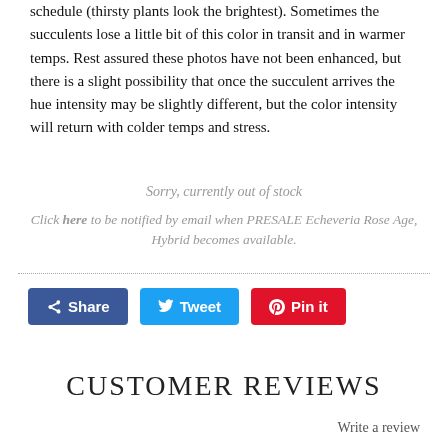schedule (thirsty plants look the brightest). Sometimes the succulents lose a little bit of this color in transit and in warmer temps. Rest assured these photos have not been enhanced, but there is a slight possibility that once the succulent arrives the hue intensity may be slightly different, but the color intensity will return with colder temps and stress.
Sorry, currently out of stock
Click here to be notified by email when PRESALE Echeveria Rose Age, Hybrid becomes available.
Share  Tweet  Pin it
CUSTOMER REVIEWS
Write a review